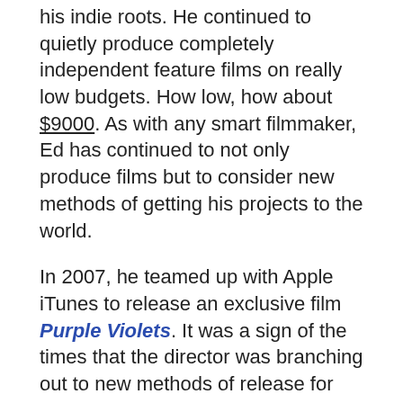his indie roots. He continued to quietly produce completely independent feature films on really low budgets. How low, how about $9000. As with any smart filmmaker, Ed has continued to not only produce films but to consider new methods of getting his projects to the world.
In 2007, he teamed up with Apple iTunes to release an exclusive film Purple Violets. It was a sign of the times that the director was branching out to new methods of release for his projects.
In addition, he also continued to release works with his signature tried-and-true method of filmmaking. Using a very small $25,000 budget and a lot of resourcefulness, Burns created Nice Guy Johnny in 2010.